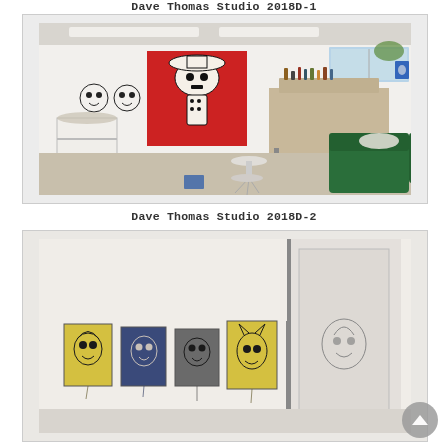Dave Thomas Studio 2018D-1
[Figure (photo): Interior of an art studio showing a large red painting with black cartoon-like figure on the wall, paint supply cart on wheels on the left, a worktable covered with art supplies in the background, a stool in the center, and a green couch on the right. Various artworks visible on walls.]
Dave Thomas Studio 2018D-2
[Figure (photo): Art studio wall showing several small paintings with cartoon face/figure motifs in yellow, blue, and grey tones arranged in a row, with what appears to be a door or partition to the right.]